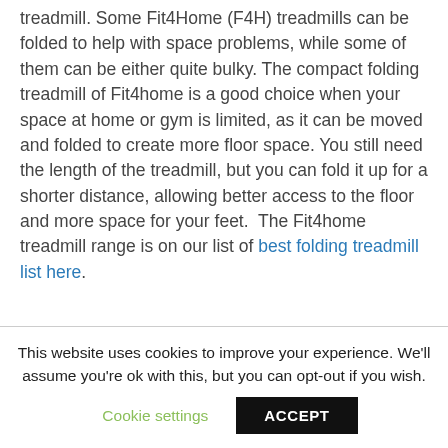treadmill. Some Fit4Home (F4H) treadmills can be folded to help with space problems, while some of them can be either quite bulky. The compact folding treadmill of Fit4home is a good choice when your space at home or gym is limited, as it can be moved and folded to create more floor space. You still need the length of the treadmill, but you can fold it up for a shorter distance, allowing better access to the floor and more space for your feet.  The Fit4home treadmill range is on our list of best folding treadmill list here.
This website uses cookies to improve your experience. We'll assume you're ok with this, but you can opt-out if you wish.
Cookie settings  ACCEPT